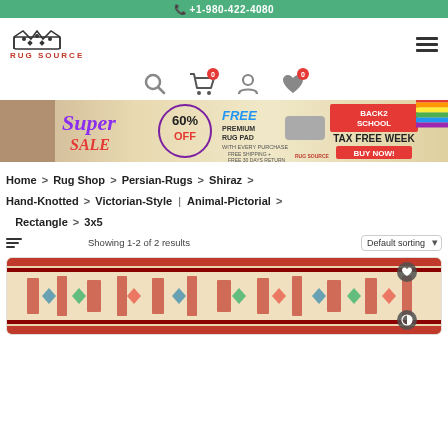📞 +1-980-422-4080
[Figure (logo): Rug Source logo with crown icon and bold red text RUG SOURCE]
[Figure (infographic): Super Sale banner: 60% OFF, FREE Premium Rug Pad with every purchase, Free Shipping + Free 30 Days Return, Back 2 School Tax Free Week, Buy Now!]
Home > Rug Shop > Persian-Rugs > Shiraz > Hand-Knotted > Victorian-Style | Animal-Pictorial > Rectangle > 3x5
Showing 1-2 of 2 results   Default sorting
[Figure (photo): Persian rug product photo showing a red and ivory hand-knotted Shiraz Victorian-Style Animal-Pictorial rectangle rug 3x5]